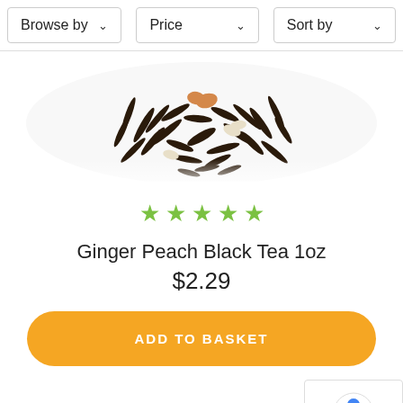Browse by   Price   Sort by
[Figure (photo): Close-up photo of loose leaf black tea with dried peach and ginger pieces, shown from above on white background]
★★★★★
Ginger Peach Black Tea 1oz
$2.29
ADD TO BASKET
Check rewards